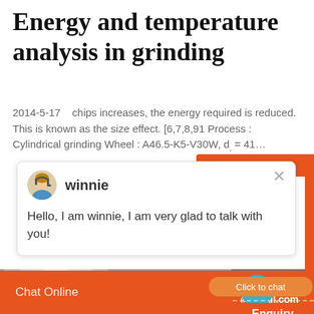Energy and temperature analysis in grinding
2014-5-17    chips increases, the energy required is reduced. This is known as the size effect. [6,7,8,91 Process : Cylindrical grinding Wheel : A46.5-K5-V30W, d, = 41…
[Figure (screenshot): Chat popup with avatar of agent named winnie and message: Hello, I am winnie, I am very glad to talk with you!]
[Figure (photo): Industrial grinding wheel machinery photo, with side panel showing a customer service representative]
Chat Online   cywaitml @gmail.com